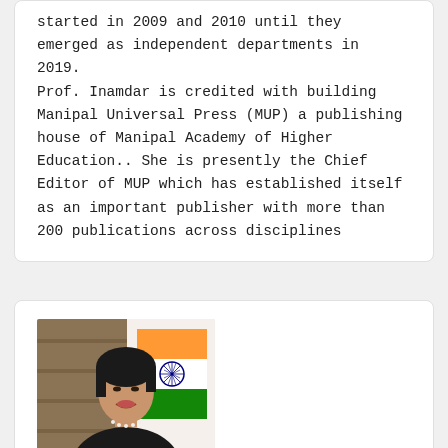started in 2009 and 2010 until they emerged as independent departments in 2019.
Prof. Inamdar is credited with building Manipal Universal Press (MUP) a publishing house of Manipal Academy of Higher Education.. She is presently the Chief Editor of MUP which has established itself as an important publisher with more than 200 publications across disciplines
[Figure (photo): Portrait photo of Nirupama Menon Rao, a woman with short dark hair wearing a black outfit and pearl necklace, with an Indian flag in the background]
Nirupama Menon Rao
Former Foreign Secretary, Government of India